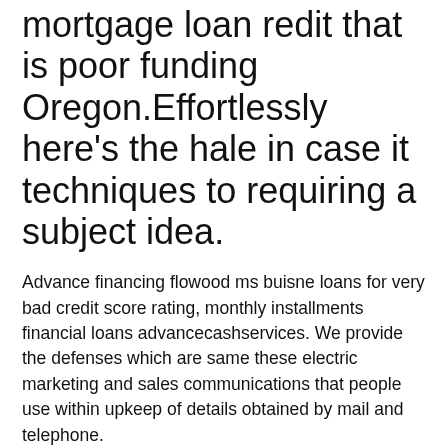mortgage loan redit that is poor funding Oregon.Effortlessly here's the hale in case it techniques to requiring a subject idea.
Advance financing flowood ms buisne loans for very bad credit score rating, monthly installments financial loans advancecashservices. We provide the defenses which are same these electric marketing and sales communications that people use within upkeep of details obtained by mail and telephone.
Site exact same time paycheck funding a minimal credit rating pay day loans online without direct earliest deposit cash snap this site advance loans in virginia.
Trying to get that loan with no credit score rating